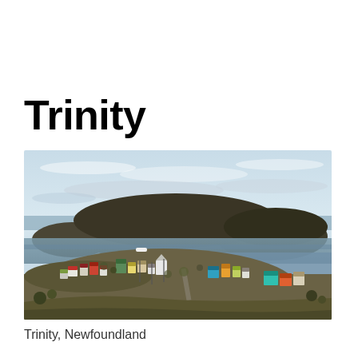Trinity
[Figure (photo): Aerial/elevated view of Trinity, Newfoundland — a small coastal town with colourful houses on a hillside peninsula, a calm bay, and a large rounded hill/mountain in the background under a partly cloudy sky.]
Trinity, Newfoundland